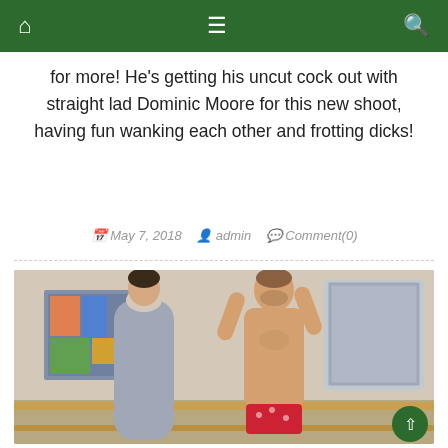Navigation bar with home, menu, and search icons
for more! He's getting his uncut cock out with straight lad Dominic Moore for this new shoot, having fun wanking each other and frotting dicks!
May 7, 2018   admin   Comment(0)
[Figure (photo): Two men in an indoor setting, one shirtless with hands behind head wearing red underwear, the other in a grey shirt]